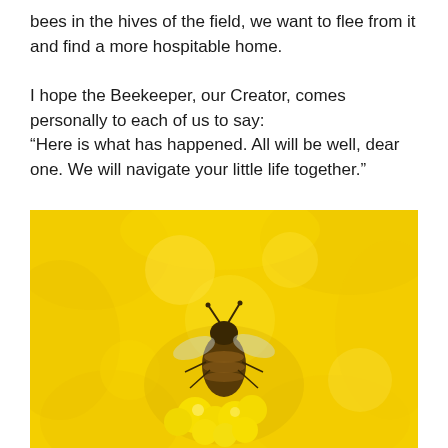bees in the hives of the field, we want to flee from it and find a more hospitable home.

I hope the Beekeeper, our Creator, comes personally to each of us to say:
“Here is what has happened. All will be well, dear one. We will navigate your little life together.”
[Figure (photo): Close-up macro photo of a bee inside a bright yellow flower, surrounded by yellow petals and pollen-covered stamens.]